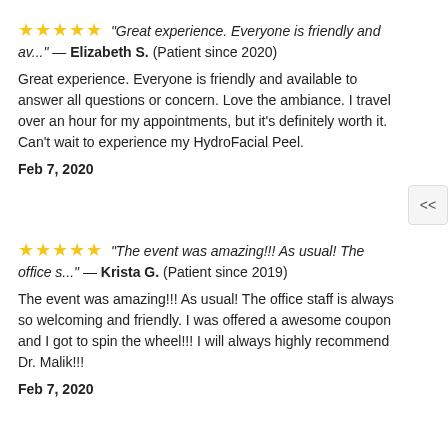★★★★★ "Great experience. Everyone is friendly and av..." — Elizabeth S. (Patient since 2020)
Great experience. Everyone is friendly and available to answer all questions or concern. Love the ambiance. I travel over an hour for my appointments, but it's definitely worth it. Can't wait to experience my HydroFacial Peel.
Feb 7, 2020
★★★★★ "The event was amazing!!! As usual! The office s..." — Krista G. (Patient since 2019)
The event was amazing!!! As usual! The office staff is always so welcoming and friendly. I was offered a awesome coupon and I got to spin the wheel!!! I will always highly recommend Dr. Malik!!!
Feb 7, 2020